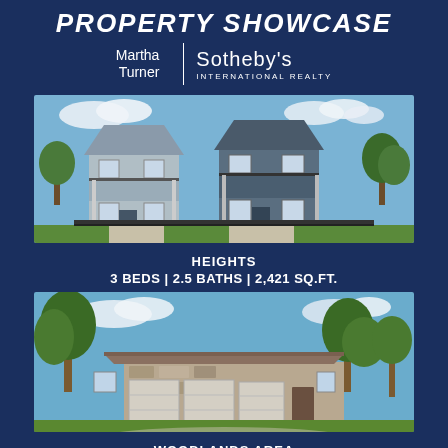PROPERTY SHOWCASE
Martha Turner | Sotheby's International Realty
[Figure (photo): Two-story townhome exterior in the Heights neighborhood, gray siding with covered porches and iron fencing, lush green lawn]
HEIGHTS
3 BEDS | 2.5 BATHS | 2,421 SQ.FT.
[Figure (photo): Single-story stone and brick home in the Woodlands area with a three-car garage and mature trees in a cul-de-sac setting]
WOODLANDS AREA